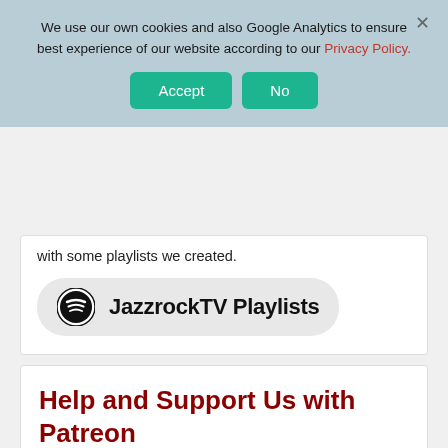We use our own cookies and also Google Analytics to ensure best experience of our website according to our Privacy Policy.
Accept  No
with some playlists we created.
[Figure (other): Spotify button with logo and text: JazzrockTV Playlists]
Help and Support Us with Patreon
Support JazzrockTV and become a patron on patreon.com/jazzrocktv. Your contribution will be much appreaciated and you will only contribute